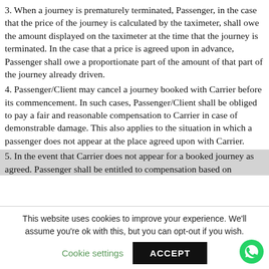3. When a journey is prematurely terminated, Passenger, in the case that the price of the journey is calculated by the taximeter, shall owe the amount displayed on the taximeter at the time that the journey is terminated. In the case that a price is agreed upon in advance, Passenger shall owe a proportionate part of the amount of that part of the journey already driven.
4. Passenger/Client may cancel a journey booked with Carrier before its commencement. In such cases, Passenger/Client shall be obliged to pay a fair and reasonable compensation to Carrier in case of demonstrable damage. This also applies to the situation in which a passenger does not appear at the place agreed upon with Carrier.
5. In the event that Carrier does not appear for a booked journey as agreed. Passenger shall be entitled to compensation based on
This website uses cookies to improve your experience. We'll assume you're ok with this, but you can opt-out if you wish.